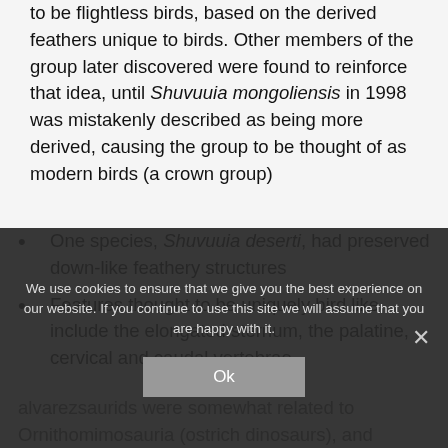to be flightless birds, based on the derived feathers unique to birds. Other members of the group later discovered were found to reinforce that idea, until Shuvuuia mongoliensis in 1998 was mistakenly described as being more derived, causing the group to be thought of as modern birds (a crown group)
One species, Shuvuuia deserti, had preserved down-like feathery structures
Features thought to be uniquely bird like include the elongated sternum, the palatine, cervical and caudal vertebrae
alvarezsaurids were somewhat related to Ornithomimosauria (ostrich dinosaurs), and birdlike characteristics came from convergent evolution